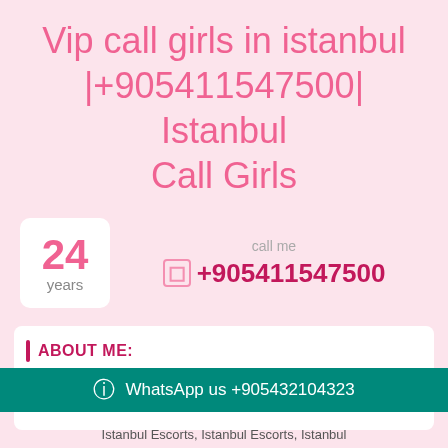Vip call girls in istanbul |+905411547500| Istanbul Call Girls
24 years — call me +905411547500
ABOUT ME:
24 years old Female from Istanbul, Istanbul Escorts
WhatsApp us +905432104323
Istanbul Escorts, Istanbul Escorts, Istanbul